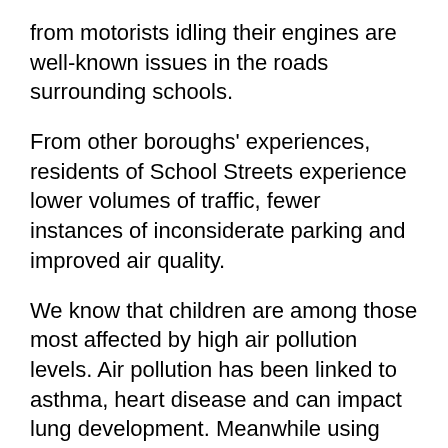from motorists idling their engines are well-known issues in the roads surrounding schools.
From other boroughs' experiences, residents of School Streets experience lower volumes of traffic, fewer instances of inconsiderate parking and improved air quality.
We know that children are among those most affected by high air pollution levels. Air pollution has been linked to asthma, heart disease and can impact lung development. Meanwhile using active forms of travel like walking and cycling have excellent benefits not only for the environment but also for the health of our residents.
But we also understand that residents...